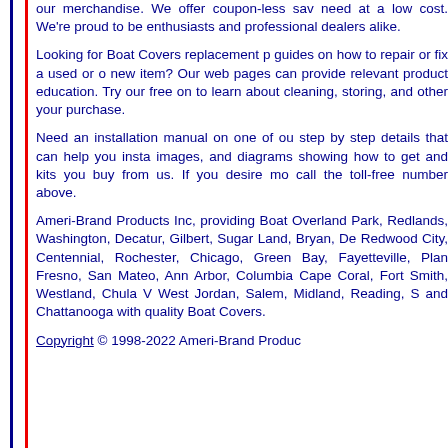our merchandise. We offer coupon-less savings on everything you need at a low cost. We're proud to be serving boating enthusiasts and professional dealers alike.
Looking for Boat Covers replacement parts? Looking for guides on how to repair or fix a used or old cover or buy a new item? Our web pages can provide information and relevant product education. Try our free online resources to learn about cleaning, storing, and other tips to maximize your purchase.
Need an installation manual on one of our products? Get step by step details that can help you install any covers, images, and diagrams showing how to get the most out of parts and kits you buy from us. If you desire more information, call the toll-free number above.
Ameri-Brand Products Inc, providing Boat Covers to Overland Park, Redlands, Washington, Murfreesboro, Decatur, Gilbert, Sugar Land, Bryan, Denton, Roseville, Redwood City, Centennial, Rochester, Thousand Oaks, Chicago, Green Bay, Fayetteville, Plano, Tempe, Peoria, Fresno, San Mateo, Ann Arbor, Columbia, Springfield, Cape Coral, Fort Smith, Westland, Chula Vista, Reno, West Jordan, Salem, Midland, Reading, Sterling Heights, and Chattanooga with quality Boat Covers.
Copyright © 1998-2022 Ameri-Brand Products Inc